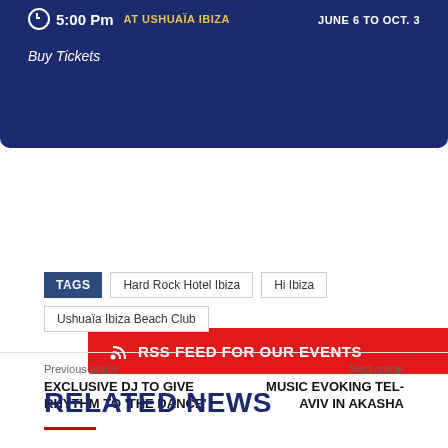[Figure (screenshot): Dark blue event banner showing time 5:00 Pm, 'AT USHUAIA IBIZA' in gold text, 'JUNE 6 TO OCT. 3' in white, and 'Buy Tickets' link in white italic text]
RSS FEED FOR OUR EVENTS
TAGS   Hard Rock Hotel Ibiza   Hi Ibiza   Ushuaïa Ibiza Beach Club
Previous article
EXCLUSIVE DJ TO GIVE RHYTHM TO 'THE DANCE'
Next article
MUSIC EVOKING TEL-AVIV IN AKASHA
RELATED NEWS